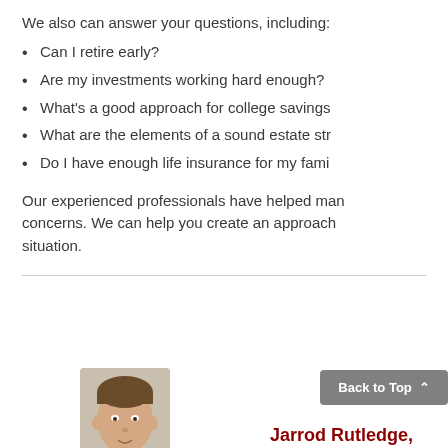We also can answer your questions, including:
Can I retire early?
Are my investments working hard enough?
What's a good approach for college savings
What are the elements of a sound estate str
Do I have enough life insurance for my fami
Our experienced professionals have helped man concerns. We can help you create an approach situation.
Back to Top
[Figure (photo): Headshot photo of Jarrod Rutledge, Founding Partner]
Jarrod Rutledge, Founding Partner (813) 292-8413